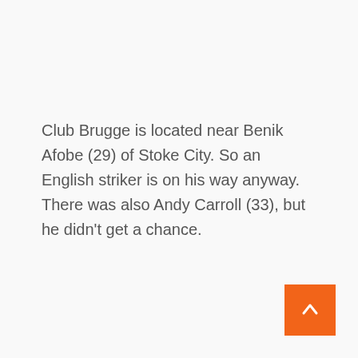Club Brugge is located near Benik Afobe (29) of Stoke City. So an English striker is on his way anyway. There was also Andy Carroll (33), but he didn't get a chance.